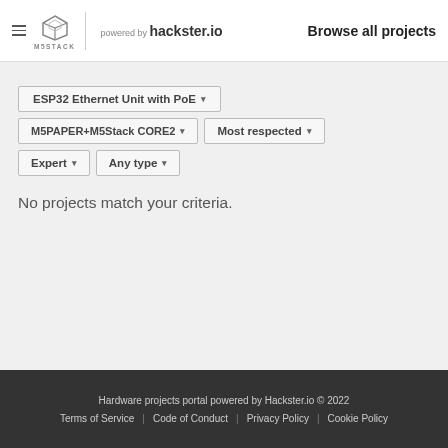M5STACK powered by hackster.io — Browse all projects
ESP32 Ethernet Unit with PoE ▾
M5PAPER+M5Stack CORE2 ▾
Most respected ▾
Expert ▾
Any type ▾
No projects match your criteria.
Hardware projects portal powered by Hackster.io © 2022
Terms of Service    Code of Conduct    Privacy Policy    Cookie Policy